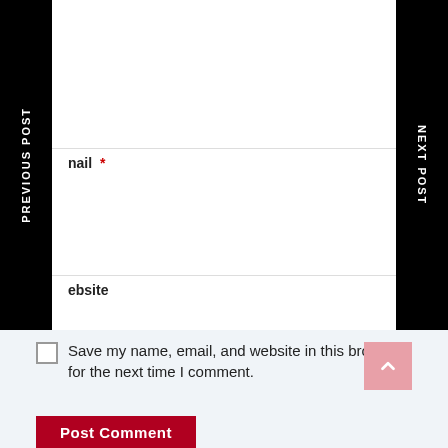PREVIOUS POST
NEXT POST
mail *
ebsite
Save my name, email, and website in this browser for the next time I comment.
Post Comment